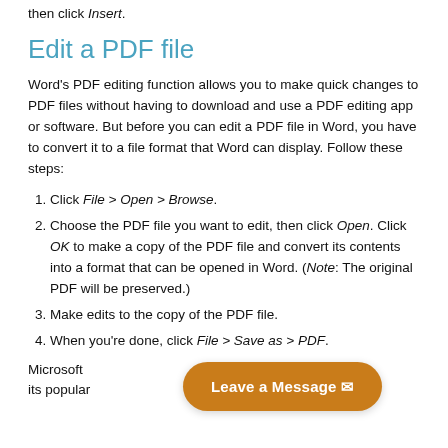then click Insert.
Edit a PDF file
Word's PDF editing function allows you to make quick changes to PDF files without having to download and use a PDF editing app or software. But before you can edit a PDF file in Word, you have to convert it to a file format that Word can display. Follow these steps:
Click File > Open > Browse.
Choose the PDF file you want to edit, then click Open. Click OK to make a copy of the PDF file and convert its contents into a format that can be opened in Word. (Note: The original PDF will be preserved.)
Make edits to the copy of the PDF file.
When you're done, click File > Save as > PDF.
Microsoft [Leave a Message] ut nifty new features for its popular stay updated on the